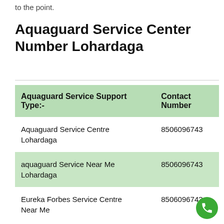to the point.
Aquaguard Service Center Number Lohardaga
| Aquaguard Service Support Type:- | Contact Number |
| --- | --- |
| Aquaguard Service Centre Lohardaga | 8506096743 |
| aquaguard Service Near Me Lohardaga | 8506096743 |
| Eureka Forbes Service Centre Near Me | 8506096743 |